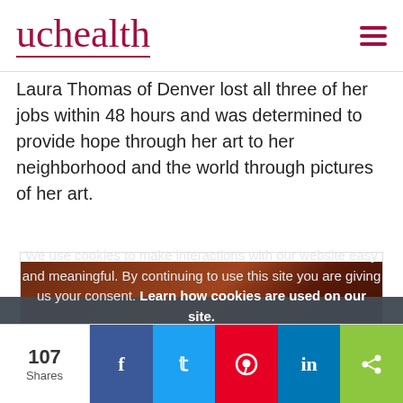uchealth
Laura Thomas of Denver lost all three of her jobs within 48 hours and was determined to provide hope through her art to her neighborhood and the world through pictures of her art.
[Figure (photo): Partial view of artwork with warm brown and reddish tones]
We use cookies to make interactions with our website easy and meaningful. By continuing to use this site you are giving us your consent. Learn how cookies are used on our site.
Accept terms
107 Shares | Facebook | Twitter | Pinterest | LinkedIn | Share